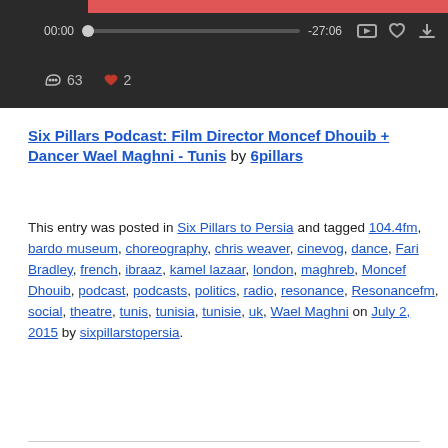[Figure (screenshot): Audio player widget with dark background, red top bar, playback controls showing 00:00 and -27:06, progress bar, headphone icon with count 63, heart icon with count 2]
Six Pillars Podcast: Film Director Moncef Dhouib + Dancer Wael Maghni - Tunis by 6pillars
This entry was posted in Six Pillars to Persia and tagged 104.4fm, bardo museum, choreography, chris weaver, cinevog, dance, Fari Bradley, french, ibraaz, kamel lazaar, london, maghreb, Moncef Dhouib, podcast, podcasts, politics, radio, resonance, Resonancefm, social, theatre, tunis, tunisia, tunisie, uk, Wael Maghni on July 2, 2015 by sixpillarstopersia.